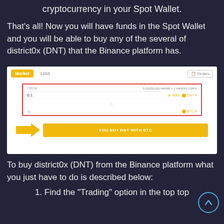cryptocurrency in your Spot Wallet.
That's all! Now you will have funds in the Spot Wallet and you will be able to buy any of the several of district0x (DNT) that the Binance platform has.
[Figure (screenshot): Screenshot of Binance trading interface showing Market/Limit options, a red-bordered order form with DNT and BTC fields, and a yellow buy button with an arrow pointing to it.]
To buy district0x (DNT) from the Binance platform what you just have to do is described below:
1. Find the "Trading" option in the top top